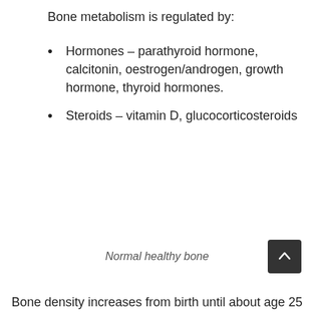Bone metabolism is regulated by:
Hormones – parathyroid hormone, calcitonin, oestrogen/androgen, growth hormone, thyroid hormones.
Steroids – vitamin D, glucocorticosteroids
Normal healthy bone
Bone density increases from birth until about age 25